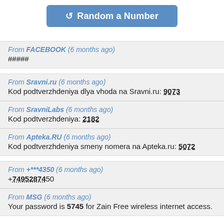[Figure (other): Blue button labeled 'Random a Number' with a refresh/random icon]
From FACEBOOK (6 months ago)
#####
From Sravni.ru (6 months ago)
Kod podtverzhdeniya dlya vhoda na Sravni.ru: 9073
From SravniLabs (6 months ago)
Kod podtverzhdeniya: 2182
From Apteka.RU (6 months ago)
Kod podtverzhdeniya smeny nomera na Apteka.ru: 5072
From +***4350 (6 months ago)
+74952874350
From MSG (6 months ago)
Your password is 5745 for Zain Free wireless internet access.